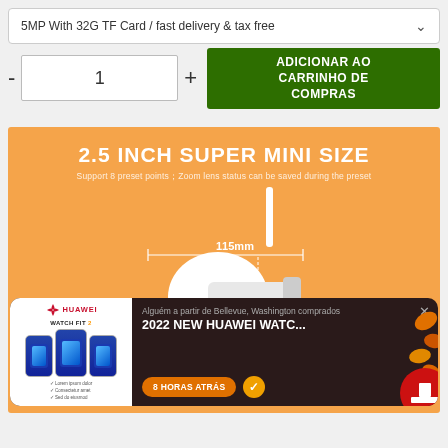5MP With 32G TF Card / fast delivery & tax free
- 1 + ADICIONAR AO CARRINHO DE COMPRAS
[Figure (photo): Product page for a 2.5 inch super mini PTZ security camera. Orange background with camera showing 115mm dimension. Below is a popup notification advertising Huawei Watch Fit 2 stating 'Alguém a partir de Bellevue, Washington comprados 2022 NEW HUAWEI WATC...' with a button '8 HORAS ATRÁS'.]